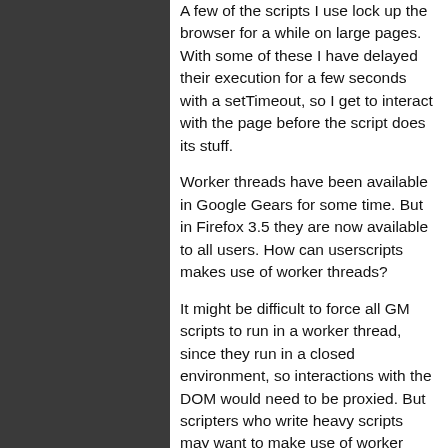A few of the scripts I use lock up the browser for a while on large pages. With some of these I have delayed their execution for a few seconds with a setTimeout, so I get to interact with the page before the script does its stuff.
Worker threads have been available in Google Gears for some time. But in Firefox 3.5 they are now available to all users. How can userscripts makes use of worker threads?
It might be difficult to force all GM scripts to run in a worker thread, since they run in a closed environment, so interactions with the DOM would need to be proxied. But scripters who write heavy scripts may want to make use of worker